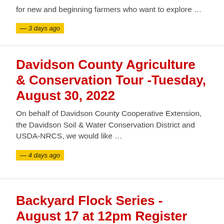for new and beginning farmers who want to explore …
— 3 days ago
Davidson County Agriculture & Conservation Tour -Tuesday, August 30, 2022
On behalf of Davidson County Cooperative Extension, the Davidson Soil & Water Conservation District and USDA-NRCS, we would like …
— 4 days ago
Backyard Flock Series - August 17 at 12pm Register Now!